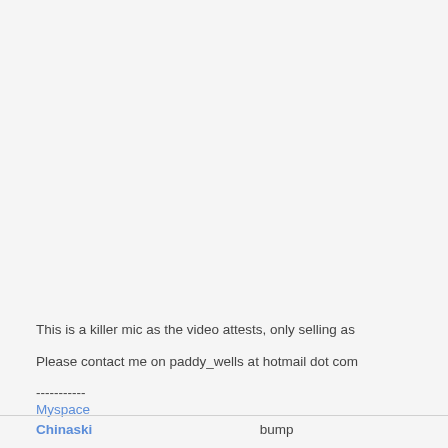This is a killer mic as the video attests, only selling as
Please contact me on paddy_wells at hotmail dot com
-----------
Myspace
Chinaski	bump